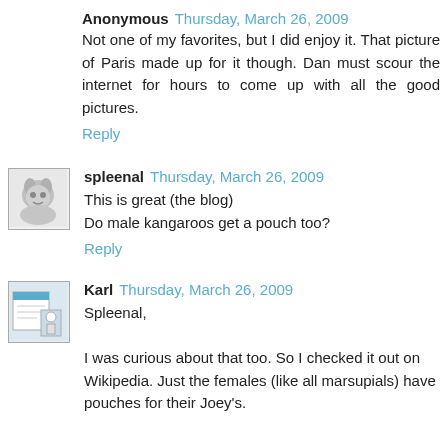Anonymous  Thursday, March 26, 2009
Not one of my favorites, but I did enjoy it. That picture of Paris made up for it though. Dan must scour the internet for hours to come up with all the good pictures.
Reply
spleenal  Thursday, March 26, 2009
This is great (the blog)
Do male kangaroos get a pouch too?
Reply
Karl  Thursday, March 26, 2009
Spleenal,

I was curious about that too. So I checked it out on Wikipedia. Just the females (like all marsupials) have pouches for their Joey's.